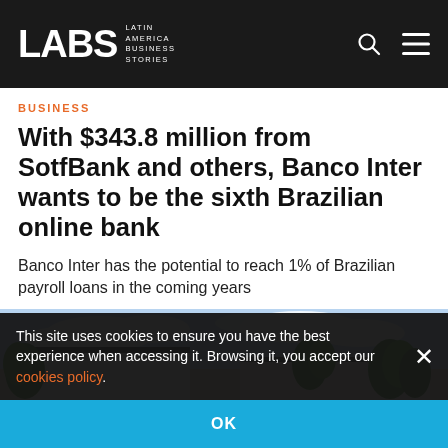LABS LATIN AMERICA BUSINESS STORIES
BUSINESS
With $343.8 million from SotfBank and others, Banco Inter wants to be the sixth Brazilian online bank
Banco Inter has the potential to reach 1% of Brazilian payroll loans in the coming years
[Figure (photo): Exterior view of Banco Inter building with trees and sky in background]
This site uses cookies to ensure you have the best experience when accessing it. Browsing it, you accept our cookies policy.
OK